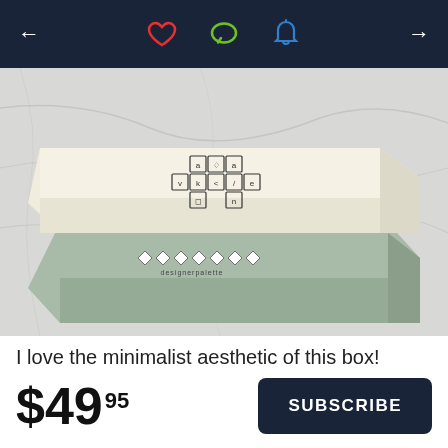← ♡ 💬 🔔 →
[Figure (photo): A rectangular gift box with a white/cream lid featuring a cross-shaped grid of small decorated squares, sitting on a sage green base with diamond-shaped logos and brand text, placed on a marble surface.]
I love the minimalist aesthetic of this box!
$49.95
SUBSCRIBE